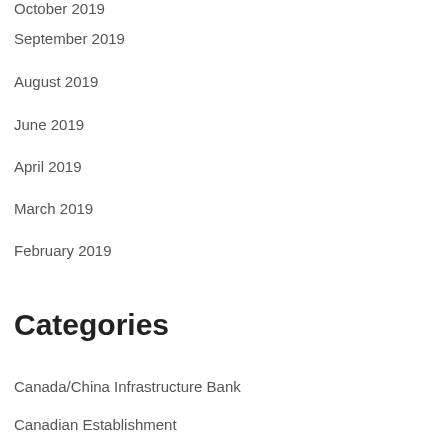October 2019
September 2019
August 2019
June 2019
April 2019
March 2019
February 2019
Categories
Canada/China Infrastructure Bank
Canadian Establishment